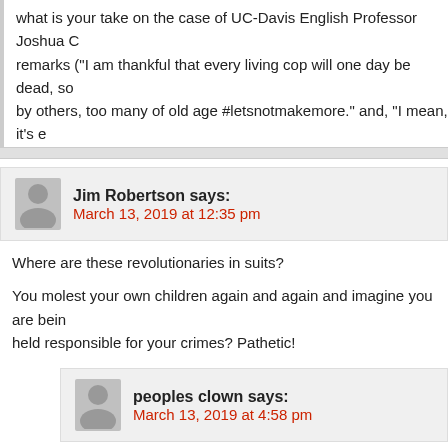what is your take on the case of UC-Davis English Professor Joshua C...remarks ("I am thankful that every living cop will one day be dead, so...by others, too many of old age #letsnotmakemore." and, "I mean, it's e...their backs are turned, no?") has not and probably will not suffer any r...from the University Board of Directors? Just a simple sentence on the...
Jim Robertson says:
March 13, 2019 at 12:35 pm
Where are these revolutionaries in suits?
You molest your own children again and again and imagine you are bein...held responsible for your crimes? Pathetic!
peoples clown says:
March 13, 2019 at 4:58 pm
Jim, remember, 80% post pubescent males, not really children. Of cou...but just getting the rhetoric in order. Just like someone saying" if eating...heaven…" Well, for catholics, officially that's only for Lent, since Vatica...